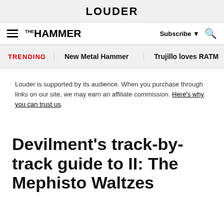LOUDER
METAL HAMMER  Subscribe  [search]
TRENDING  New Metal Hammer  Trujillo loves RATM
Louder is supported by its audience. When you purchase through links on our site, we may earn an affiliate commission. Here's why you can trust us.
Devilment's track-by-track guide to II: The Mephisto Waltzes